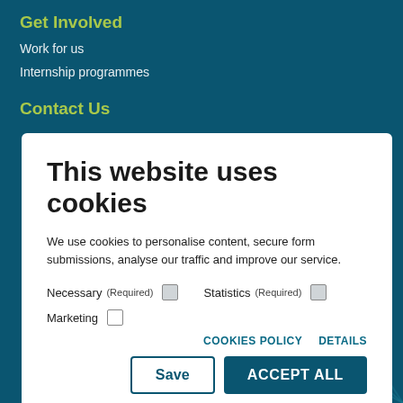Get Involved
Work for us
Internship programmes
Contact Us
This website uses cookies
We use cookies to personalise content, secure form submissions, analyse our traffic and improve our service.
Necessary (Required) [checked] Statistics (Required) [checked] Marketing [unchecked]
COOKIES POLICY   DETAILS
Save   ACCEPT ALL